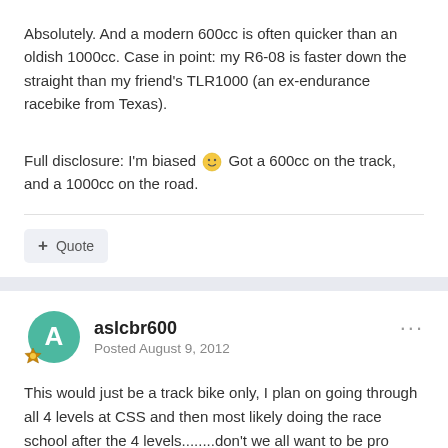Absolutely. And a modern 600cc is often quicker than an oldish 1000cc. Case in point: my R6-08 is faster down the straight than my friend's TLR1000 (an ex-endurance racebike from Texas).
Full disclosure: I'm biased 🙂 Got a 600cc on the track, and a 1000cc on the road.
Quote
aslcbr600
Posted August 9, 2012
This would just be a track bike only, I plan on going through all 4 levels at CSS and then most likely doing the race school after the 4 levels........don't we all want to be pro racers? lol